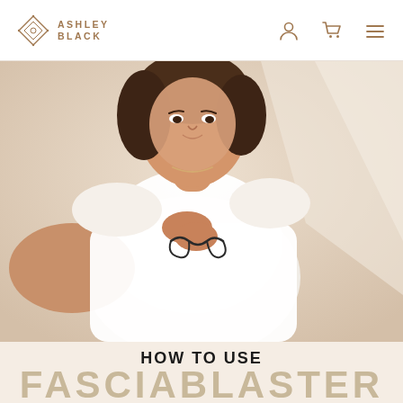Ashley Black
[Figure (photo): Woman in white shirt holding glasses, posed against a warm beige background with geometric light shapes]
HOW TO USE
FASCIABLASTER